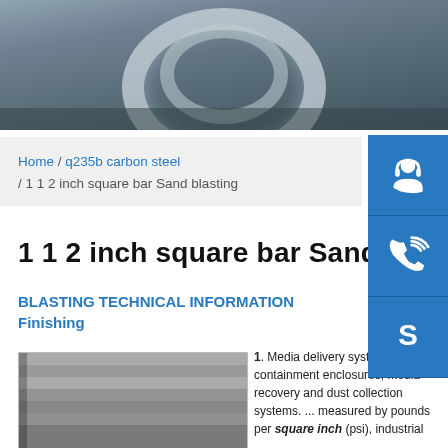[Figure (photo): Steel coil or roll product photo, industrial setting with grey background]
Home / q235b carbon steel / 1 1 2 inch square bar Sand blasting
1 1 2 inch square bar Sand blasting
BLASTING TECHNICAL INFORMATION Finishing
[Figure (photo): Stack of steel square bars or flat bars, grey metallic surface]
1. Media delivery systems 2. Blast containment enclosures, media recovery and dust collection systems. ... measured by pounds per square inch (psi), industrial